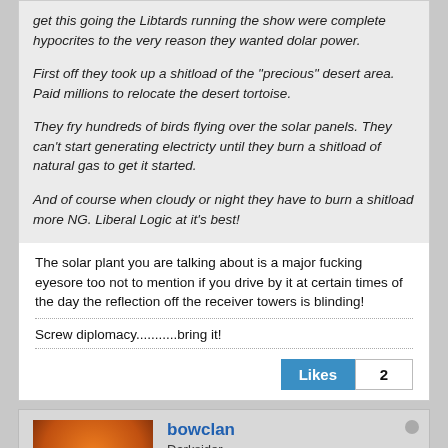get this going the Libtards running the show were complete hypocrites to the very reason they wanted dolar power.
First off they took up a shitload of the "precious" desert area. Paid millions to relocate the desert tortoise.
They fry hundreds of birds flying over the solar panels. They can't start generating electricty until they burn a shitload of natural gas to get it started.
And of course when cloudy or night they have to burn a shitload more NG. Liberal Logic at it's best!
The solar plant you are talking about is a major fucking eyesore too not to mention if you drive by it at certain times of the day the reflection off the receiver towers is blinding!
Screw diplomacy...........bring it!
Likes 2
bowclan
Darksider
Join Date: Oct 2015   Posts: 1252